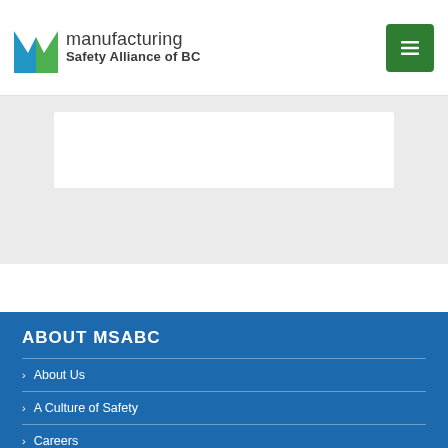[Figure (logo): Manufacturing Safety Alliance of BC logo with stylized blue and green M icon and text]
[Figure (other): Green hamburger menu button (three horizontal lines) in top right corner]
[Figure (other): White card/panel on grey background in the middle section of the page]
ABOUT MSABC
About Us
A Culture of Safety
Careers
Our Values and Vision